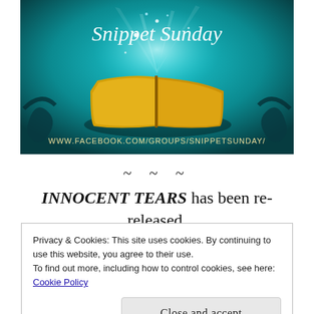[Figure (illustration): Snippet Sunday banner image showing a glowing open book with magical light effects on a teal background. Text reads 'Snippet Sunday' at top and 'www.facebook.com/groups/SnippetSunday/' at bottom.]
~ ~ ~
INNOCENT TEARS has been re-released.
Privacy & Cookies: This site uses cookies. By continuing to use this website, you agree to their use.
To find out more, including how to control cookies, see here:
Cookie Policy
Close and accept
~ ~ ~